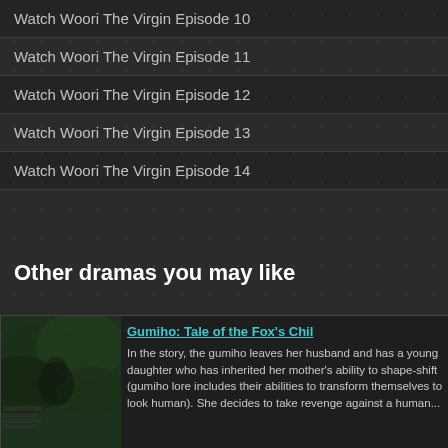Watch Woori The Virgin Episode 10
Watch Woori The Virgin Episode 11
Watch Woori The Virgin Episode 12
Watch Woori The Virgin Episode 13
Watch Woori The Virgin Episode 14
Other dramas you may like
[Figure (photo): Thumbnail image for Gumiho: Tale of the Fox's Child drama, showing a dark outdoor scene with foliage]
Gumiho: Tale of the Fox's Child
In the story, the gumiho leaves her husband and has a young daughter who has inherited her mother's ability to shape-shift (gumiho lore includes their abilities to transform themselves to look human). She decides to take revenge against a human...